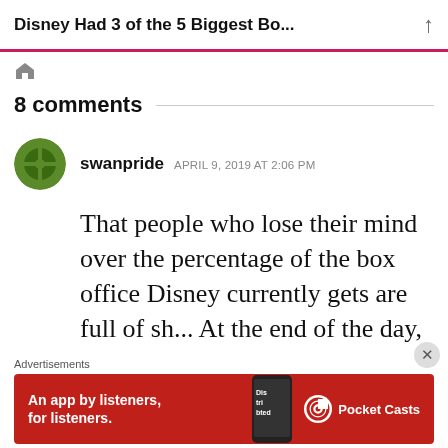Disney Had 3 of the 5 Biggest Bo...
8 comments
swanpride  APRIL 9, 2019 AT 2:06 PM
That people who lose their mind over the percentage of the box office Disney currently gets are full of sh... At the end of the day,
Advertisements
[Figure (screenshot): Pocket Casts advertisement banner: red background with text 'An app by listeners, for listeners.' and Pocket Casts logo with phone image]